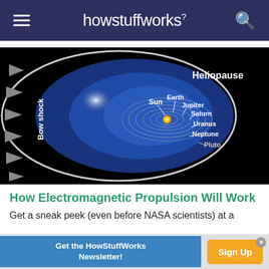howstuffworks
[Figure (illustration): Scientific diagram of the heliosphere showing the Sun at center with labeled planetary orbits (Sun, Earth, Jupiter, Saturn, Uranus, Neptune, Pluto), surrounded by the blue heliopause boundary, and grey arrows on the left labeled 'Bow shock' indicating solar wind direction.]
How Electromagnetic Propulsion Will Work
Get a sneak peek (even before NASA scientists) at a
Get the HowStuffWorks Newsletter! Sign Up